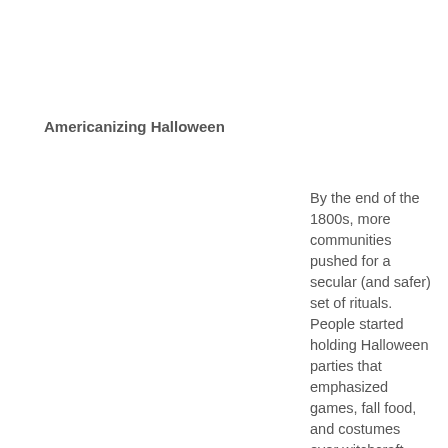Americanizing Halloween
By the end of the 1800s, more communities pushed for a secular (and safer) set of rituals. People started holding Halloween parties that emphasized games, fall food, and costumes over witchcraft